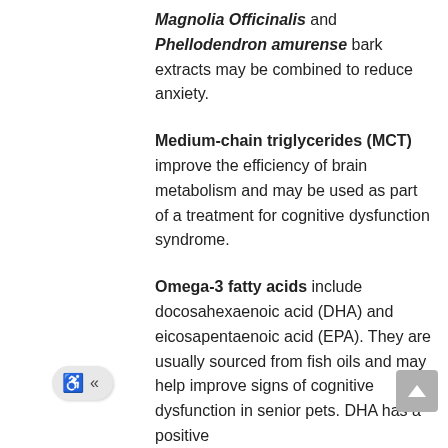Magnolia Officinalis and Phellodendron amurense bark extracts may be combined to reduce anxiety.
Medium-chain triglycerides (MCT) improve the efficiency of brain metabolism and may be used as part of a treatment for cognitive dysfunction syndrome.
Omega-3 fatty acids include docosahexaenoic acid (DHA) and eicosapentaenoic acid (EPA). They are usually sourced from fish oils and may help improve signs of cognitive dysfunction in senior pets. DHA has a positive